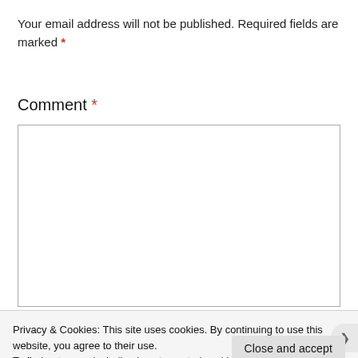Your email address will not be published. Required fields are marked *
Comment *
[Figure (screenshot): Empty comment text area input box with gray border]
Privacy & Cookies: This site uses cookies. By continuing to use this website, you agree to their use.
To find out more, including how to control cookies, see here: Cookie Policy
Close and accept